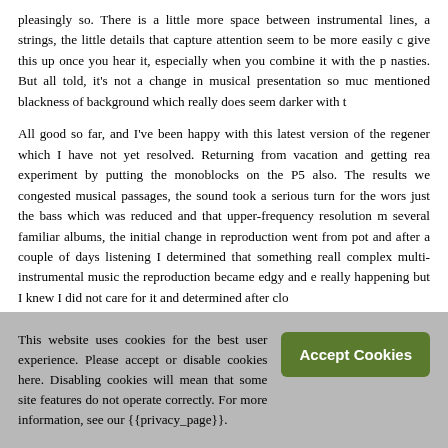pleasingly so. There is a little more space between instrumental lines, a strings, the little details that capture attention seem to be more easily c give this up once you hear it, especially when you combine it with the p nasties. But all told, it's not a change in musical presentation so muc mentioned blackness of background which really does seem darker with t
All good so far, and I've been happy with this latest version of the regener which I have not yet resolved. Returning from vacation and getting rea experiment by putting the monoblocks on the P5 also. The results we congested musical passages, the sound took a serious turn for the wors just the bass which was reduced and that upper-frequency resolution m several familiar albums, the initial change in reproduction went from pot and after a couple of days listening I determined that something reall complex multi-instrumental music the reproduction became edgy and e really happening but I knew I did not care for it and determined after clo
This website uses cookies for the best user experience. Please accept or disable cookies here. Disabling cookies will mean that some site features do not operate correctly. For more information, see our {{privacy_page}}.